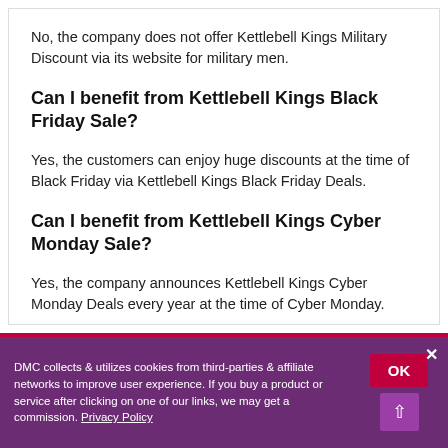No, the company does not offer Kettlebell Kings Military Discount via its website for military men.
Can I benefit from Kettlebell Kings Black Friday Sale?
Yes, the customers can enjoy huge discounts at the time of Black Friday via Kettlebell Kings Black Friday Deals.
Can I benefit from Kettlebell Kings Cyber Monday Sale?
Yes, the company announces Kettlebell Kings Cyber Monday Deals every year at the time of Cyber Monday.
DMC collects & utilizes cookies from third-parties & affiliate networks to improve user experience. If you buy a product or service after clicking on one of our links, we may get a commission. Privacy Policy